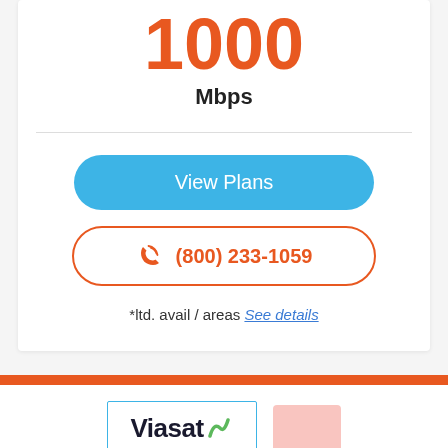1000
Mbps
View Plans
(800) 233-1059
*ltd. avail / areas See details
[Figure (logo): Viasat Authorized Retailer logo with blue wave mark and blue authorized retailer banner]